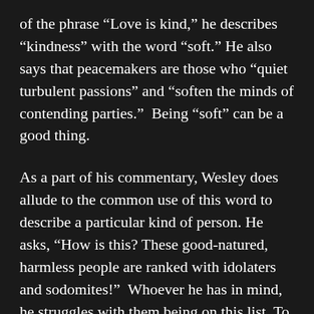of the phrase “Love is kind,” he describes “kindness” with the word “soft.” He also says that peacemakers are those who “quiet turbulent passions” and “soften the minds of contending parties.”  Being “soft” can be a good thing.
As a part of his commentary, Wesley does allude to the common use of this word to describe a particular kind of person. He asks, “How is this? These good-natured, harmless people are ranked with idolaters and sodomites!”  Whoever he has in mind, he struggles with them being on this list. To make sense of this he speculates that we must all guard against sins thought to be the least in